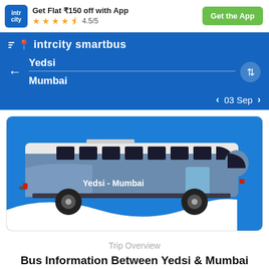[Figure (screenshot): Top banner with IntrCity logo, offer text 'Get Flat ₹150 off with App', star rating 4.5/5, and 'Get the App' green button]
[Figure (screenshot): Blue navigation bar with IntrCity SmartBus logo, route search from Yedsi to Mumbai, swap button, back arrow, and date navigation showing 03 Sep]
[Figure (illustration): Bus illustration on blue background showing a bus labeled 'Yedsi - Mumbai' with a white wave background]
Trip Overview
Bus Information Between Yedsi & Mumbai